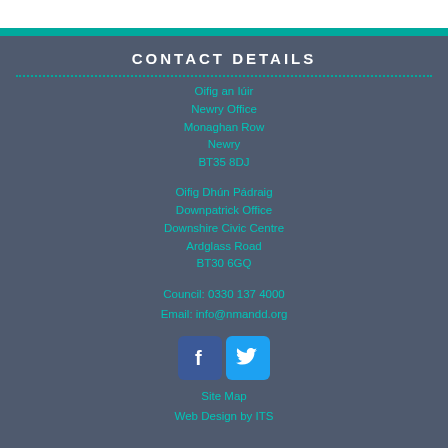CONTACT DETAILS
Oifig an Iúir
Newry Office
Monaghan Row
Newry
BT35 8DJ
Oifig Dhún Pádraig
Downpatrick Office
Downshire Civic Centre
Ardglass Road
BT30 6GQ
Council: 0330 137 4000
Email: info@nmandd.org
[Figure (logo): Facebook and Twitter social media icons]
Site Map
Web Design by ITS